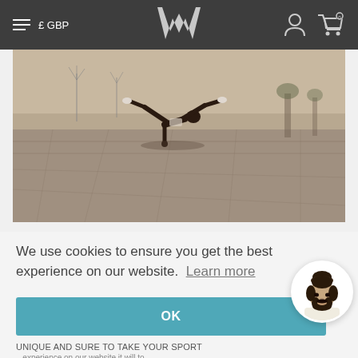≡ £ GBP  [WA Logo]  [User icon] [Cart 0]
[Figure (photo): Sepia-toned wide photo of a breakdancer performing a one-arm balance/freeze on an outdoor paved plaza, with wind turbines and trees visible in the background.]
We use cookies to ensure you get the best experience on our website. Learn more
OK
[Figure (illustration): Circular avatar illustration of a bearded man with a bun hairstyle, wearing a white shirt, shown from shoulders up.]
UNIQUE AND SURE TO TAKE YOUR SPORT
(partial text continues below)